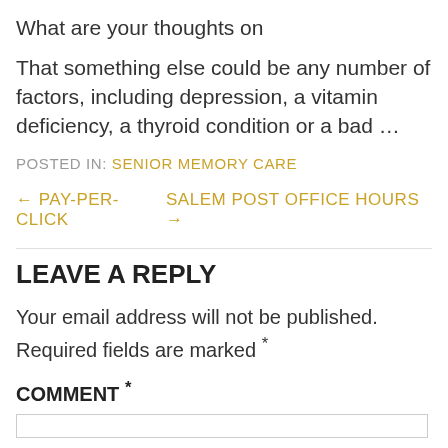What are your thoughts on
That something else could be any number of factors, including depression, a vitamin deficiency, a thyroid condition or a bad ...
POSTED IN: SENIOR MEMORY CARE
← PAY-PER-CLICK    SALEM POST OFFICE HOURS →
LEAVE A REPLY
Your email address will not be published. Required fields are marked *
COMMENT *